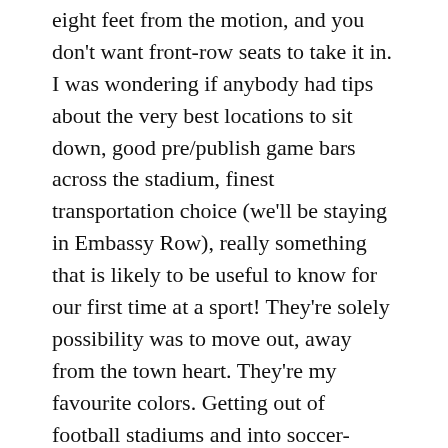eight feet from the motion, and you don't want front-row seats to take it in. I was wondering if anybody had tips about the very best locations to sit down, good pre/publish game bars across the stadium, finest transportation choice (we'll be staying in Embassy Row), really something that is likely to be useful to know for our first time at a sport! They're solely possibility was to move out, away from the town heart. They're my favourite colors. Getting out of football stadiums and into soccer-particular stadiums was essential.
Come go to D.C. United's new soccer-specific stadium at Audi Field in Southwest DC to get an up-shut view of the action in top-of-the-line